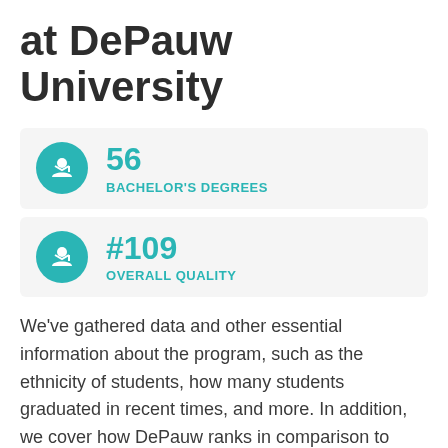at DePauw University
56 BACHELOR'S DEGREES
#109 OVERALL QUALITY
We've gathered data and other essential information about the program, such as the ethnicity of students, how many students graduated in recent times, and more. In addition, we cover how DePauw ranks in comparison to other schools with